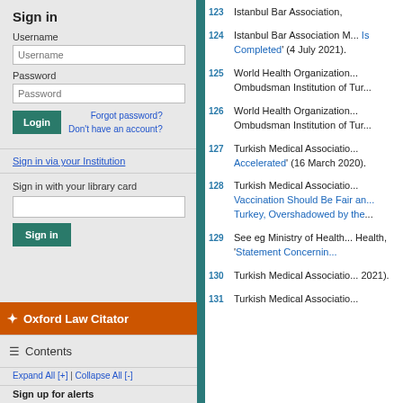Sign in
Username
Password
Forgot password? Don't have an account?
Sign in via your Institution
Sign in with your library card
Oxford Law Citator
Contents
Expand All [+] | Collapse All [-]
Sign up for alerts
123 Istanbul Bar Association,
124 Istanbul Bar Association M... Is Completed' (4 July 2021).
125 World Health Organization... Ombudsman Institution of Tur...
126 World Health Organization... Ombudsman Institution of Tur...
127 Turkish Medical Associatio... Accelerated' (16 March 2020).
128 Turkish Medical Associatio... Vaccination Should Be Fair an... Turkey, Overshadowed by the...
129 See eg Ministry of Health... Health, 'Statement Concernin...
130 Turkish Medical Associatio... 2021).
131 Turkish Medical Associatio...